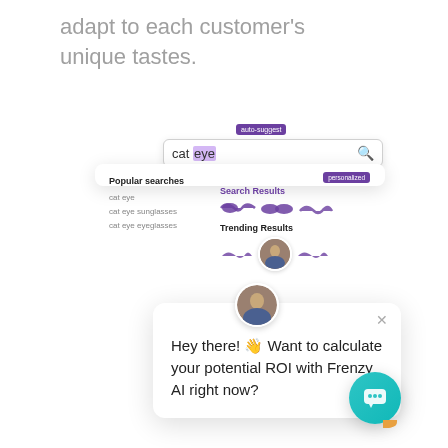adapt to each customer's unique tastes.
[Figure (screenshot): UI screenshot showing a search box with 'cat eye' typed and 'eye' highlighted, with an 'auto-suggest' label above. Below is a dropdown panel showing 'Popular searches' (cat eye, cat eye sunglasses, cat eye eyeglasses) on the left and 'Search Results' (personalized, showing purple cat-eye glasses icons) and 'Trending Results' on the right. Overlaid is a chat popup with an avatar, a close button, and the message 'Hey there! 👋 Want to calculate your potential ROI with Frenzy AI right now?' A teal chat bubble button is in the bottom right.]